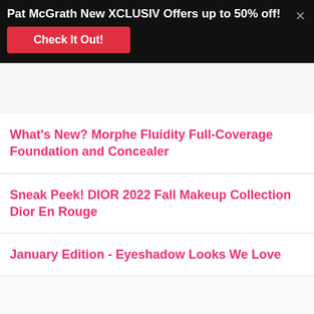Pat McGrath New XCLUSIV Offers up to 50% off!
What's New? Morphe Fluidity Full-Coverage Foundation and Concealer
Sneak Peek! DIOR 2022 Fall Makeup Collection Dior En Rouge
January Edition - Eyeshadow Looks We Love